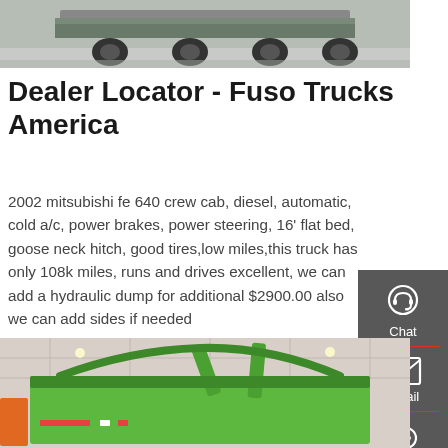[Figure (photo): Top portion of a large green truck with black tires, cropped, showing the rear undercarriage area against a light background]
Dealer Locator - Fuso Trucks America
2002 mitsubishi fe 640 crew cab, diesel, automatic, cold a/c, power brakes, power steering, 16' flat bed, goose neck hitch, good tires,low miles,this truck has only 108k miles, runs and drives excellent, we can add a hydraulic dump for additional $2900.00 also we can add sides if needed
GET A QUOTE
[Figure (infographic): Dark grey sidebar with three icons and labels: a headset icon labeled Chat, an envelope icon labeled Email, and a speech bubble icon labeled Contact, separated by red horizontal lines]
[Figure (photo): Bottom portion showing a bright green garbage/dump truck with open rear lift mechanism, displayed at an indoor exhibition hall with ceiling lights visible]